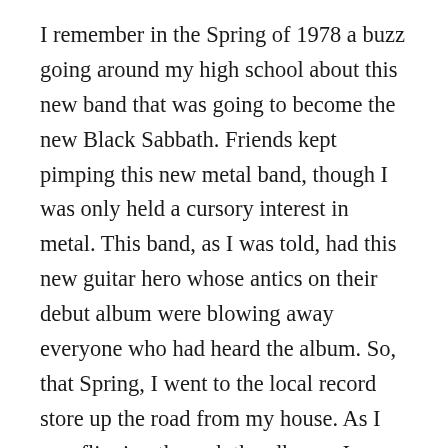I remember in the Spring of 1978 a buzz going around my high school about this new band that was going to become the new Black Sabbath. Friends kept pimping this new metal band, though I was only held a cursory interest in metal. This band, as I was told, had this new guitar hero whose antics on their debut album were blowing away everyone who had heard the album. So, that Spring, I went to the local record store up the road from my house. As I was flipping through the albums, I was trying to decide between this new band Van Halen's debut album and the debut album of another new rocker Eddie Money. Upon the recommendation of the store clerk, I popped